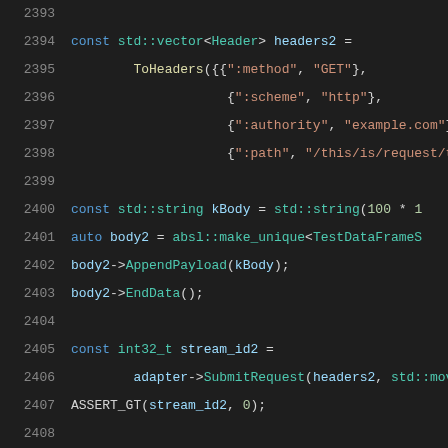[Figure (screenshot): C++ source code snippet with syntax highlighting, lines 2393-2413, showing vector headers initialization, string body, SubmitRequest call, and EXPECT_CALL macros]